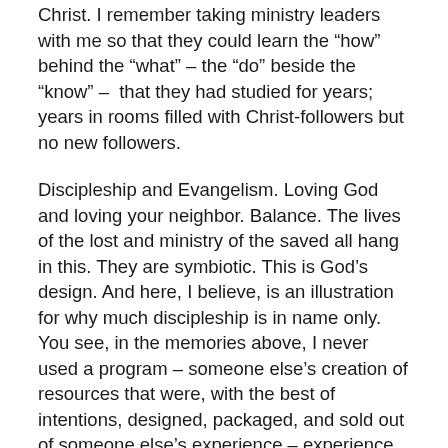Christ. I remember taking ministry leaders with me so that they could learn the “how” behind the “what” – the “do” beside the “know” – that they had studied for years; years in rooms filled with Christ-followers but no new followers.
Discipleship and Evangelism. Loving God and loving your neighbor. Balance. The lives of the lost and ministry of the saved all hang in this. They are symbiotic. This is God’s design. And here, I believe, is an illustration for why much discipleship is in name only. You see, in the memories above, I never used a program – someone else’s creation of resources that were, with the best of intentions, designed, packaged, and sold out of someone else’s experience – experience that I did not possess. You can only lead from where you’ve been. Discipleship is not merely book study – although studying books can be part of the process. If you’ve not gotten your hands dirty, you won’t be able to show anyone else how to dirty their